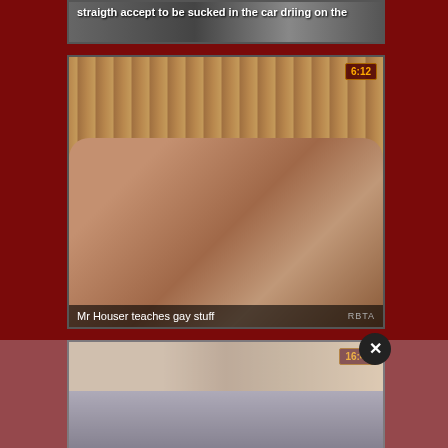[Figure (screenshot): Video thumbnail with text overlay: 'straigth accept to be sucked in the car driing on the']
[Figure (screenshot): Video thumbnail showing two people, duration badge '6:12', title overlay 'Mr Houser teaches gay stuff', brand 'RBTA']
[Figure (screenshot): Video thumbnail with duration badge '16:42' and a close/dismiss button (X), partially overlaid with semi-transparent pinkish overlay]